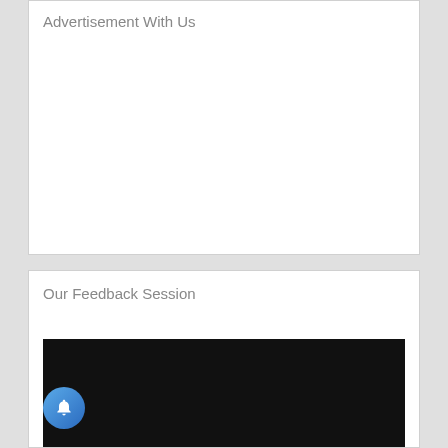Advertisement With Us
Our Feedback Session
[Figure (other): Dark/black video player placeholder area below 'Our Feedback Session' section header]